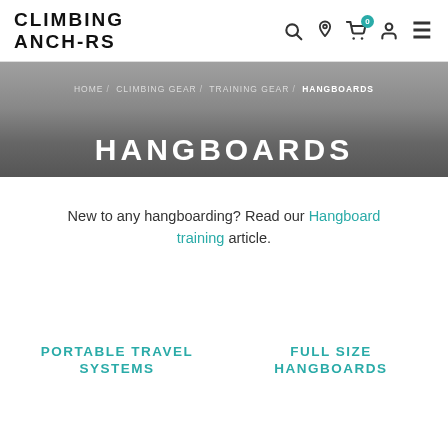CLIMBING ANCHORS
HOME / CLIMBING GEAR / TRAINING GEAR / HANGBOARDS
HANGBOARDS
New to any hangboarding? Read our Hangboard training article.
PORTABLE TRAVEL SYSTEMS
FULL SIZE HANGBOARDS